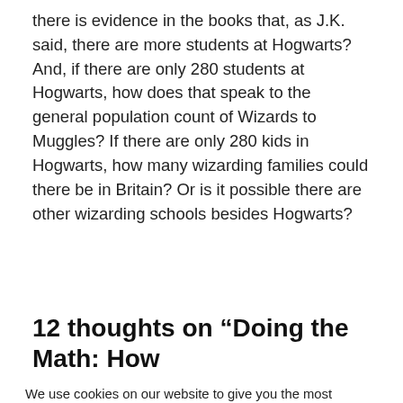there is evidence in the books that, as J.K. said, there are more students at Hogwarts? And, if there are only 280 students at Hogwarts, how does that speak to the general population count of Wizards to Muggles? If there are only 280 kids in Hogwarts, how many wizarding families could there be in Britain? Or is it possible there are other wizarding schools besides Hogwarts?
12 thoughts on “Doing the Math: How
We use cookies on our website to give you the most relevant experience by remembering your preferences and repeat visits. By clicking “Accept All”, you consent to the use of ALL the cookies. However, you may visit "Cookie Settings" to provide a controlled consent.